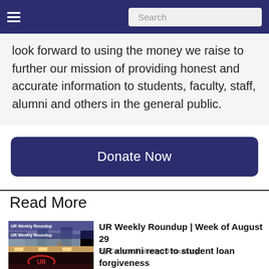Search
look forward to using the money we raise to further our mission of providing honest and accurate information to students, faculty, staff, alumni and others in the general public.
Donate Now
Read More
[Figure (photo): Thumbnail image for UR Weekly Roundup article showing city buildings and VMFA sign]
UR Weekly Roundup | Week of August 29
By Corinne Flaherty | 3 hours ago
[Figure (photo): Thumbnail image for UR alumni student loan forgiveness article showing interior with red neon sign]
UR alumni react to student loan forgiveness